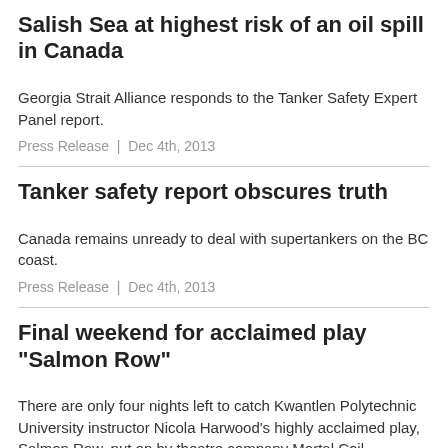Salish Sea at highest risk of an oil spill in Canada
Georgia Strait Alliance responds to the Tanker Safety Expert Panel report.
Press Release  |  Dec 4th, 2013
Tanker safety report obscures truth
Canada remains unready to deal with supertankers on the BC coast.
Press Release  |  Dec 4th, 2013
Final weekend for acclaimed play "Salmon Row"
There are only four nights left to catch Kwantlen Polytechnic University instructor Nicola Harwood's highly acclaimed play, Salmon Row, put on by theatre company Mortal Coil...
Press Release  |  Aug 29th, 2013